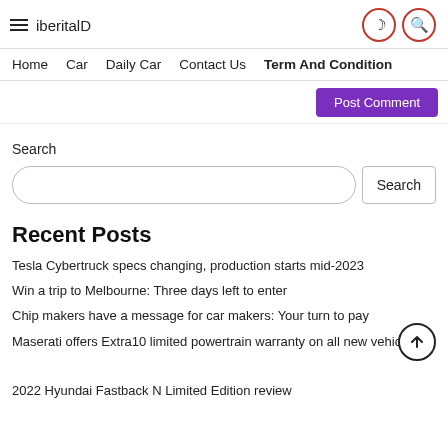iberitalD
Home   Car   Daily Car   Contact Us   Term And Condition
Post Comment
Search
Search
Recent Posts
Tesla Cybertruck specs changing, production starts mid-2023
Win a trip to Melbourne: Three days left to enter
Chip makers have a message for car makers: Your turn to pay
Maserati offers Extra10 limited powertrain warranty on all new vehicles
2022 Hyundai Fastback N Limited Edition review